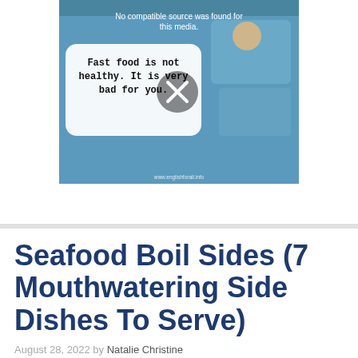[Figure (screenshot): A video player screenshot showing a media error message 'No compatible source was found for this media.' overlaid on a blue educational graphic. A large X/close button appears in the center. The background shows a cartoon image related to fast food, with a speech bubble text: 'Fast food is not healthy. It is very bad for you.' A watermark reads 'www.englishforall.info'.]
Seafood Boil Sides (7 Mouthwatering Side Dishes To Serve)
August 28, 2022 by Natalie Christine